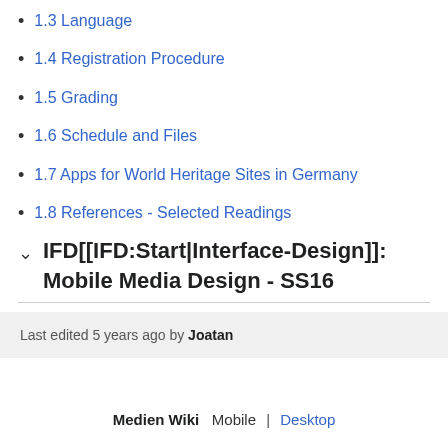1.3 Language
1.4 Registration Procedure
1.5 Grading
1.6 Schedule and Files
1.7 Apps for World Heritage Sites in Germany
1.8 References - Selected Readings
IFD[[IFD:Start|Interface-Design]]: Mobile Media Design - SS16
Last edited 5 years ago by Joatan
Medien Wiki  Mobile | Desktop